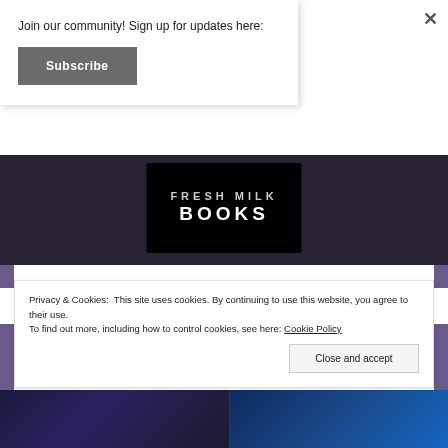Join our community! Sign up for updates here:
Subscribe
×
[Figure (logo): Fresh Milk Books logo — black rectangle with 'FRESH MILK' in light gray spaced letters above 'BOOKS' in large white bold spaced letters]
- LIKE US ON FACEBOOK -
Privacy & Cookies: This site uses cookies. By continuing to use this website, you agree to their use.
To find out more, including how to control cookies, see here: Cookie Policy
Close and accept